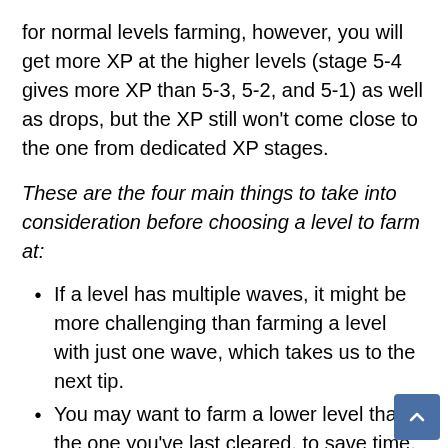for normal levels farming, however, you will get more XP at the higher levels (stage 5-4 gives more XP than 5-3, 5-2, and 5-1) as well as drops, but the XP still won't come close to the one from dedicated XP stages.
These are the four main things to take into consideration before choosing a level to farm at:
If a level has multiple waves, it might be more challenging than farming a level with just one wave, which takes us to the next tip.
You may want to farm a lower level than the one you've last cleared, to save time.
If you want both drops and XP, you might want to consider farming normal levels instead of XP